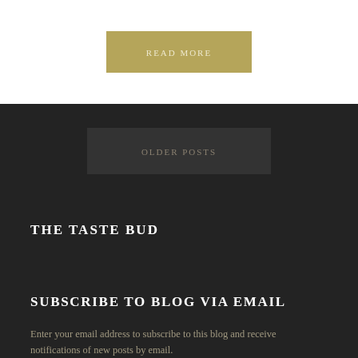READ MORE
OLDER POSTS
THE TASTE BUD
SUBSCRIBE TO BLOG VIA EMAIL
Enter your email address to subscribe to this blog and receive notifications of new posts by email.